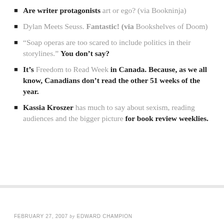Are writer protagonists art or ego? (via Bookninja)
Dylan Meets Seuss. Fantastic! (via Bookshelves of Doom)
“Soap operas are too scared to include politics in their storylines.” You don’t say?
It’s Freedom to Read Week in Canada. Because, as we all know, Canadians don’t read the other 51 weeks of the year.
Kassia Kroszer has much to say about sexism, reading audiences and the bigger picture for book review weeklies.
FEBRUARY 27, 2007 by EDWARD CHAMPION